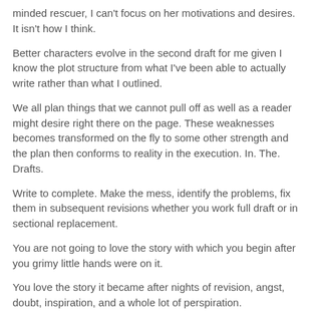minded rescuer, I can't focus on her motivations and desires. It isn't how I think.
Better characters evolve in the second draft for me given I know the plot structure from what I've been able to actually write rather than what I outlined.
We all plan things that we cannot pull off as well as a reader might desire right there on the page. These weaknesses becomes transformed on the fly to some other strength and the plan then conforms to reality in the execution. In. The. Drafts.
Write to complete. Make the mess, identify the problems, fix them in subsequent revisions whether you work full draft or in sectional replacement.
You are not going to love the story with which you begin after you grimy little hands were on it.
You love the story it became after nights of revision, angst, doubt, inspiration, and a whole lot of perspiration.